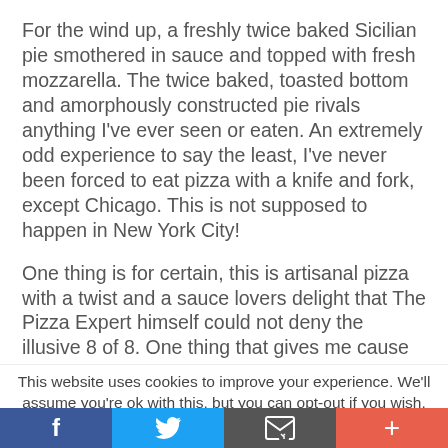For the wind up, a freshly twice baked Sicilian pie smothered in sauce and topped with fresh mozzarella. The twice baked, toasted bottom and amorphously constructed pie rivals anything I've ever seen or eaten. An extremely odd experience to say the least, I've never been forced to eat pizza with a knife and fork, except Chicago. This is not supposed to happen in New York City!
One thing is for certain, this is artisanal pizza with a twist and a sauce lovers delight that The Pizza Expert himself could not deny the illusive 8 of 8. One thing that gives me cause for pause and that is the constructive illusion that the sauce, mozzi, and double baking did… made me feel like I was feasting on a thinly sliced chicken parm. No perfecto or
This website uses cookies to improve your experience. We'll assume you're ok with this, but you can opt-out if you wish.
[Figure (infographic): Social share bar with four buttons: Facebook (blue), Twitter (light blue), Email/envelope (dark grey), and Plus/more (orange-red)]